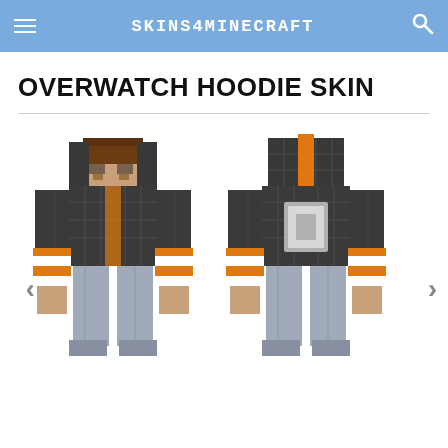SKINS4MINECRAFT
OVERWATCH HOODIE SKIN
[Figure (illustration): Two Minecraft character skins showing front and back view of an Overwatch hoodie skin. The character wears a dark grey/black plaid hoodie with orange accents and stripe details on the sleeves (orange and white bands). The front view shows a brown-haired character with a skin-tone face. The back view shows the hooded back. Both characters wear light blue/grey pants. Navigation arrows appear on left and right sides.]